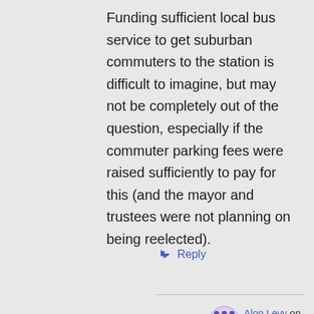Funding sufficient local bus service to get suburban commuters to the station is difficult to imagine, but may not be completely out of the question, especially if the commuter parking fees were raised sufficiently to pay for this (and the mayor and trustees were not planning on being reelected).
↳ Reply
Alon Levy on 2014-04-04 at 20:29